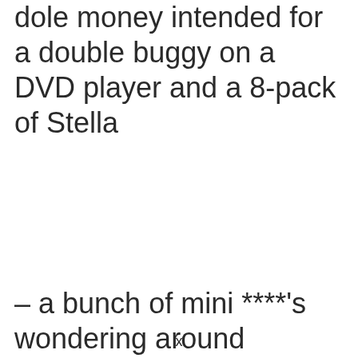dole money intended for a double buggy on a DVD player and a 8-pack of Stella
– a bunch of mini ****'s wondering around
x